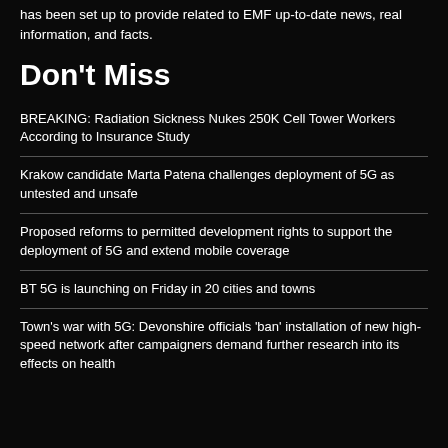has been set up to provide related to EMF up-to-date news, real information, and facts.
Don't Miss
BREAKING: Radiation Sickness Nukes 250K Cell Tower Workers According to Insurance Study
Krakow candidate Marta Patena challenges deployment of 5G as untested and unsafe
Proposed reforms to permitted development rights to support the deployment of 5G and extend mobile coverage
BT 5G is launching on Friday in 20 cities and towns
Town's war with 5G: Devonshire officials 'ban' installation of new high-speed network after campaigners demand further research into its effects on health